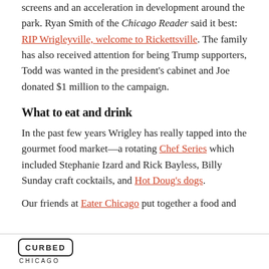screens and an acceleration in development around the park. Ryan Smith of the Chicago Reader said it best: RIP Wrigleyville, welcome to Rickettsville. The family has also received attention for being Trump supporters, Todd was wanted in the president's cabinet and Joe donated $1 million to the campaign.
What to eat and drink
In the past few years Wrigley has really tapped into the gourmet food market—a rotating Chef Series which included Stephanie Izard and Rick Bayless, Billy Sunday craft cocktails, and Hot Doug's dogs.
Our friends at Eater Chicago put together a food and
CURBED CHICAGO